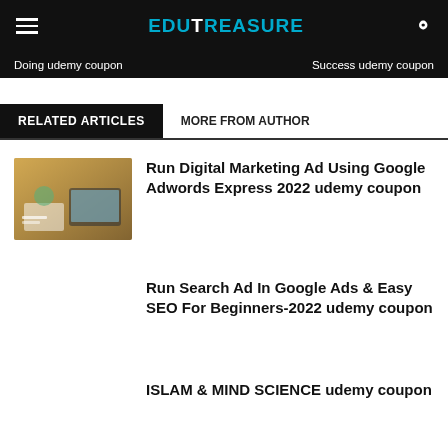EDUTREASURE
Doing udemy coupon	Success udemy coupon
RELATED ARTICLES	MORE FROM AUTHOR
Run Digital Marketing Ad Using Google Adwords Express 2022 udemy coupon
Run Search Ad In Google Ads & Easy SEO For Beginners-2022 udemy coupon
ISLAM & MIND SCIENCE udemy coupon